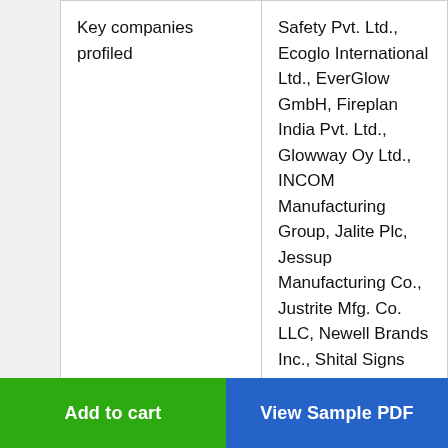| Key companies profiled | Safety Pvt. Ltd., Ecoglo International Ltd., EverGlow GmbH, Fireplan India Pvt. Ltd., Glowway Oy Ltd., INCOM Manufacturing Group, Jalite Plc, Jessup Manufacturing Co., Justrite Mfg. Co. LLC, Newell Brands Inc., Shital Signs Pvt. Ltd., Signagex, Smart Art Signs, and ZING Enterprises LLC |
|  | Parent market analysis, Market growth drivers... |
Add to cart
View Sample PDF